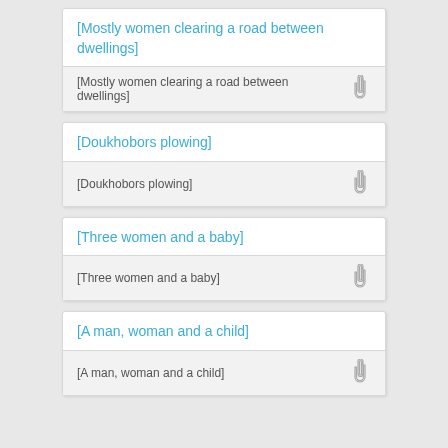[Mostly women clearing a road between dwellings]
[Mostly women clearing a road between dwellings]
[Doukhobors plowing]
[Doukhobors plowing]
[Three women and a baby]
[Three women and a baby]
[A man, woman and a child]
[A man, woman and a child]